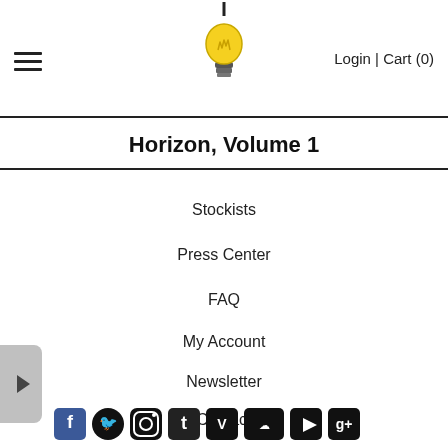≡  [bulb logo]  Login | Cart (0)
Horizon, Volume 1
Stockists
Press Center
FAQ
My Account
Newsletter
Contact
[Figure (illustration): Social media icons: Facebook, Twitter, Instagram, Tumblr, Vimeo, SoundCloud, YouTube, Google+]